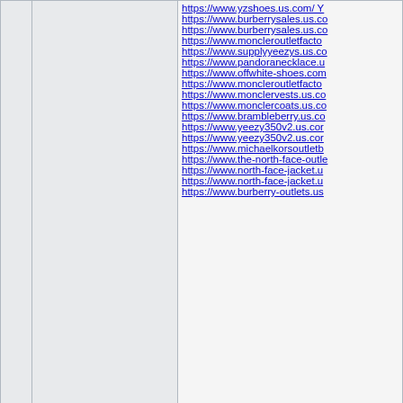|  |  | https://www.yzshoes.us.com/ Y...
https://www.burberrysales.us.co...
https://www.burberrysales.us.co...
https://www.moncleroutletfacto...
https://www.supplyyeezys.us.co...
https://www.pandoranecklace.u...
https://www.offwhite-shoes.com...
https://www.moncleroutletfacto...
https://www.monclervests.us.co...
https://www.monclercoats.us.co...
https://www.brambleberry.us.co...
https://www.yeezy350v2.us.cor...
https://www.yeezy350v2.us.cor...
https://www.michaelkorsoutletb...
https://www.the-north-face-outle...
https://www.north-face-jacket.u...
https://www.north-face-jacket.u...
https://www.burberry-outlets.us... |
| 08.05.2022 14:09 |  | profile |
| jacobcak545
Member
Join Date: 15.11.2020
Comments: 146 |  | Ultra Boost Adidas
[url=https://www.jordanretro-11...
[url=https://www.goldengooses...
[url=https://www.yeezys-shoes....
[url=https://www.fitflopsclearanc...
[url=https://www.jordan-retro5.u...
[url=https://www.pandoraringss...
[url=https://www.monclerjackets...
Women[/b][/url]
[url=https://www.jordan11ssnea...
[url=https://www.redbottomsloui...
[/url]
[url=https://www.moncler-outlet...
[url=https://www.jamesharden-s...
[url=https://www.jordan11red.us... |